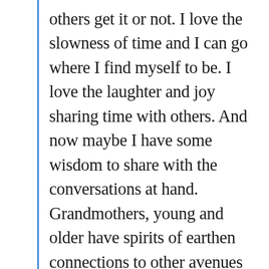others get it or not. I love the slowness of time and I can go where I find myself to be. I love the laughter and joy sharing time with others. And now maybe I have some wisdom to share with the conversations at hand. Grandmothers, young and older have spirits of earthen connections to other avenues of supporting each other. I love the ways of spontaneity. These times call for Sayain to be aware of so many aspects of lived narratives in contemporary times